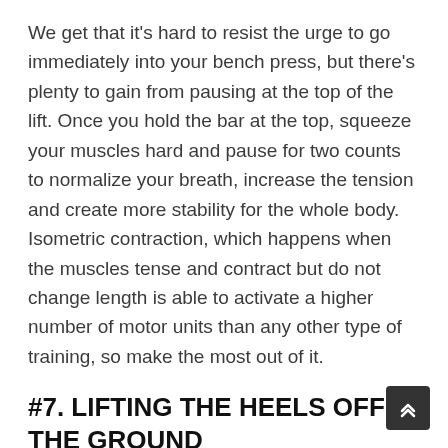We get that it's hard to resist the urge to go immediately into your bench press, but there's plenty to gain from pausing at the top of the lift. Once you hold the bar at the top, squeeze your muscles hard and pause for two counts to normalize your breath, increase the tension and create more stability for the whole body. Isometric contraction, which happens when the muscles tense and contract but do not change length is able to activate a higher number of motor units than any other type of training, so make the most out of it.
#7. LIFTING THE HEELS OFF THE GROUND
Although the bench press works out the upper